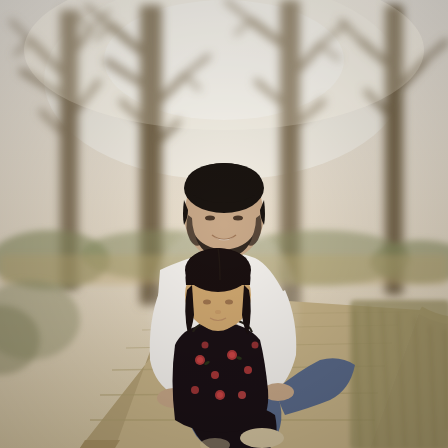[Figure (photo): A man with dark hair and a beard wearing a white shirt sits on a wooden boardwalk in an outdoor natural setting with bare trees and tall grass in the background. A young girl with long dark hair wearing a dark floral dress sits in front of him on his lap. Both are looking down with calm, tender expressions. The lighting is soft and warm, characteristic of golden-hour outdoor photography.]